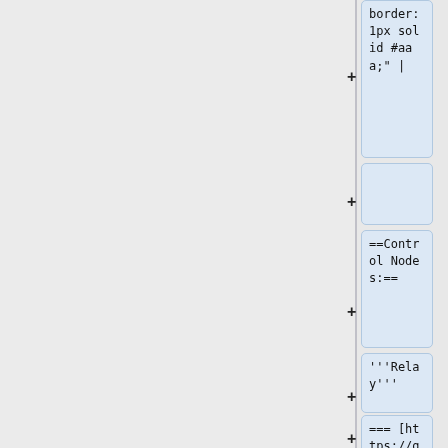border:1px solid #aaa;" |
+
==Control Nodes:==
'''Relay'''
=== [https://guide.openenergymonitor.org/integrations/mqtt-relay/ MQTT WiFi Relay]===
| style="width